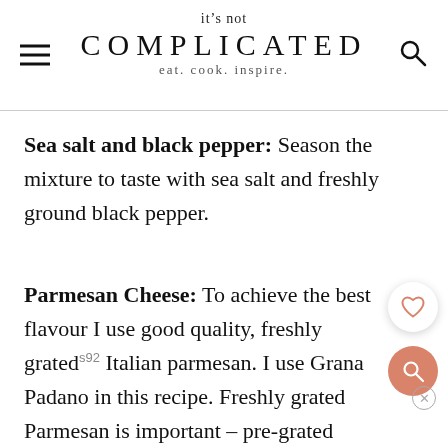it's not COMPLICATED eat. cook. inspire.
Sea salt and black pepper: Season the mixture to taste with sea salt and freshly ground black pepper.
Parmesan Cheese: To achieve the best flavour I use good quality, freshly grated Italian parmesan. I use Grana Padano in this recipe. Freshly grated Parmesan is important – pre-grated Parmesan can contain additives, which can give a grainy texture.